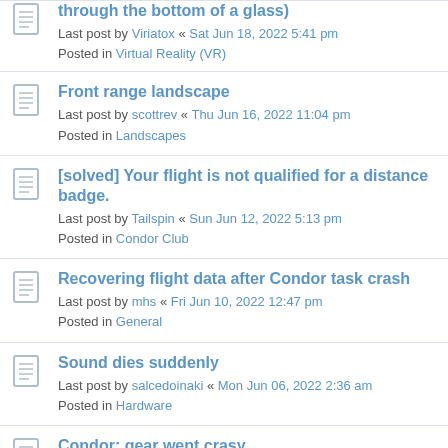through the bottom of a glass)
Last post by Viriatox « Sat Jun 18, 2022 5:41 pm
Posted in Virtual Reality (VR)
Front range landscape
Last post by scottrev « Thu Jun 16, 2022 11:04 pm
Posted in Landscapes
[solved] Your flight is not qualified for a distance badge.
Last post by Tailspin « Sun Jun 12, 2022 5:13 pm
Posted in Condor Club
Recovering flight data after Condor task crash
Last post by mhs « Fri Jun 10, 2022 12:47 pm
Posted in General
Sound dies suddenly
Last post by salcedoinaki « Mon Jun 06, 2022 2:36 am
Posted in Hardware
Condor: gear went crasy
Last post by JShieck « Sun May 29, 2022 6:41 pm